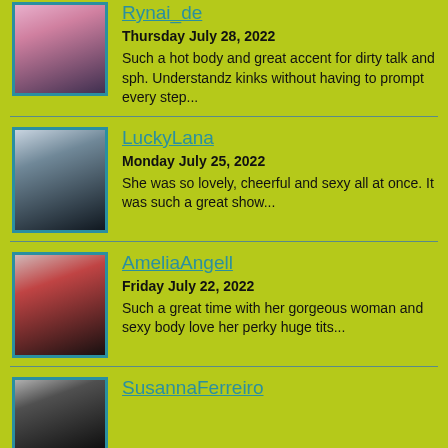[Figure (photo): Thumbnail photo of Rynai_de]
Rynai_de
Thursday July 28, 2022
Such a hot body and great accent for dirty talk and sph. Understandz kinks without having to prompt every step...
[Figure (photo): Thumbnail photo of LuckyLana]
LuckyLana
Monday July 25, 2022
She was so lovely, cheerful and sexy all at once. It was such a great show...
[Figure (photo): Thumbnail photo of AmeliaAngell]
AmeliaAngell
Friday July 22, 2022
Such a great time with her gorgeous woman and sexy body love her perky huge tits...
[Figure (photo): Thumbnail photo of SusannaFerreiro]
SusannaFerreiro